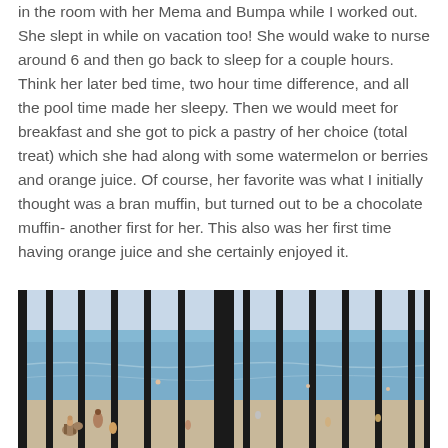in the room with her Mema and Bumpa while I worked out. She slept in while on vacation too!  She would wake to nurse around 6 and then go back to sleep for a couple hours. Think her later bed time, two hour time difference, and all the pool time made her sleepy. Then we would meet for breakfast and she got to pick a pastry of her choice (total treat) which she had along with some watermelon or berries and orange juice. Of course, her favorite was what I initially thought was a bran muffin, but turned out to be a chocolate muffin- another first for her. This also was her first time having orange juice and she certainly enjoyed it.
[Figure (photo): Beach scene viewed through vertical black metal bars/fence. Ocean with small waves, people on the beach and in the water, a pier support column visible in the center. Sandy beach with several beachgoers visible.]